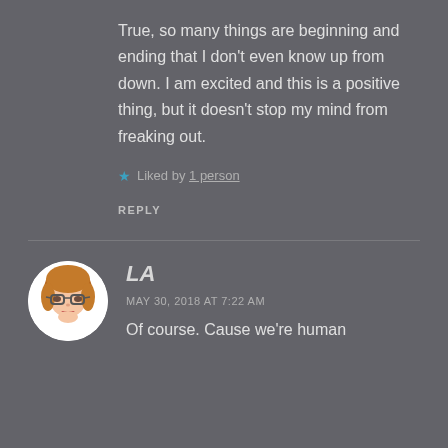True, so many things are beginning and ending that I don't even know up from down. I am excited and this is a positive thing, but it doesn't stop my mind from freaking out.
★ Liked by 1 person
REPLY
LA
MAY 30, 2018 AT 7:22 AM
Of course. Cause we're human